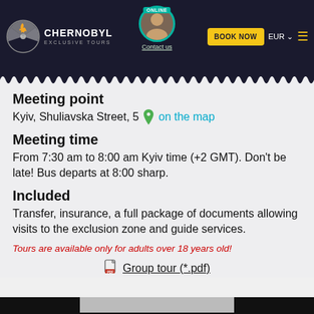Chernobyl Exclusive Tours — ONLINE — BOOK NOW — EUR — Contact us
Meeting point
Kyiv, Shuliavska Street, 5  on the map
Meeting time
From 7:30 am to 8:00 am Kyiv time (+2 GMT). Don't be late! Bus departs at 8:00 sharp.
Included
Transfer, insurance, a full package of documents allowing visits to the exclusion zone and guide services.
Tours are available only for adults over 18 years old!
Group tour (*.pdf)